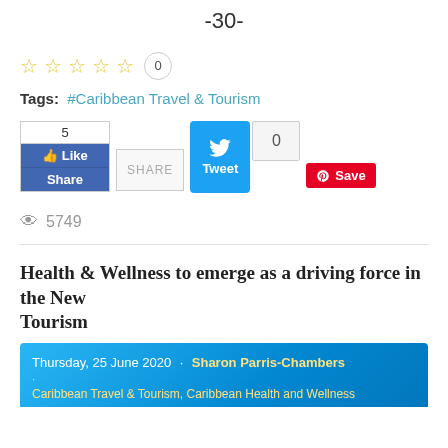-30-
☆☆☆☆☆  0
Tags:  #Caribbean Travel & Tourism
[Figure (other): Social sharing buttons: Facebook Like/Share (count 5), Share button, Twitter Tweet button, tweet count 0, Pinterest Save button]
👁 5749
Health & Wellness to emerge as a driving force in the New Tourism
Thursday, 25 June 2020 · Sharon Parris-Chambers
Caribbean Travel & Tourism, Caribbean Health and Wellness